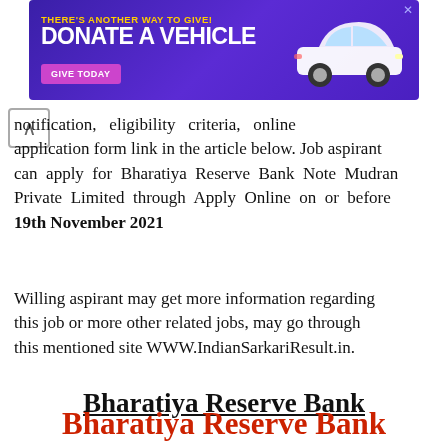[Figure (screenshot): Purple advertisement banner: 'THERE'S ANOTHER WAY TO GIVE! DONATE A VEHICLE' with GIVE TODAY button and car image]
notification, eligibility criteria, online application form link in the article below. Job aspirant can apply for Bharatiya Reserve Bank Note Mudran Private Limited through Apply Online on or before 19th November 2021
Willing aspirant may get more information regarding this job or more other related jobs, may go through this mentioned site WWW.IndianSarkariResult.in.
Bharatiya Reserve Bank Note Mudran Private Limited Recruitment Job Notification 2021.
Bharatiya Reserve Bank